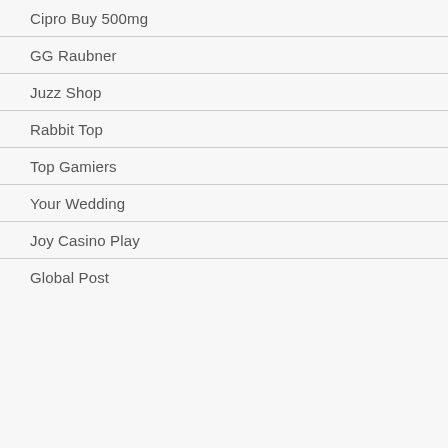Cipro Buy 500mg
GG Raubner
Juzz Shop
Rabbit Top
Top Gamiers
Your Wedding
Joy Casino Play
Global Post (partial)